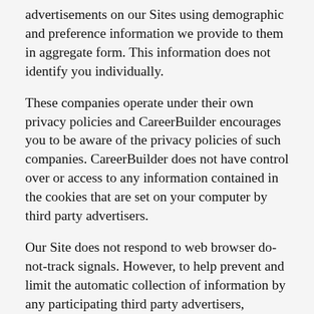advertisements on our Sites using demographic and preference information we provide to them in aggregate form. This information does not identify you individually.
These companies operate under their own privacy policies and CareerBuilder encourages you to be aware of the privacy policies of such companies. CareerBuilder does not have control over or access to any information contained in the cookies that are set on your computer by third party advertisers.
Our Site does not respond to web browser do-not-track signals. However, to help prevent and limit the automatic collection of information by any participating third party advertisers, including the collection of personally identifiable information about an individual's